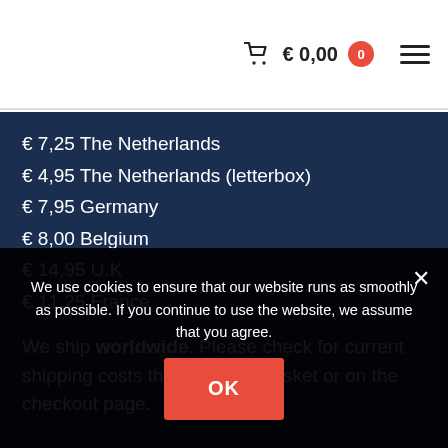€ 0,00  0  ☰
€ 7,25 The Netherlands
€ 4,95 The Netherlands (letterbox)
€ 7,95 Germany
€ 8,00 Belgium
€ 14,95 U.K
€ 11,25 France
We ship worldwide. Please check for current shipping costs the shopping basket or on the checkout page.
We use cookies to ensure that our website runs as smoothly as possible. If you continue to use the website, we assume that you agree.